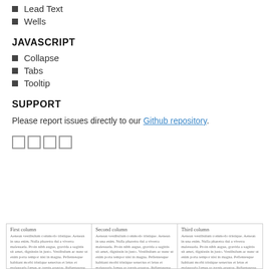Lead Text
Wells
JAVASCRIPT
Collapse
Tabs
Tooltip
SUPPORT
Please report issues directly to our Github repository.
[Figure (other): Row of four empty box icons]
| First column | Second column | Third column |
| --- | --- | --- |
| Aenean vestibulum commodo tristique. Aenean in una enim. Nulla pharetra dui a viverra malesuada. Proin nibh augue, gravida a sagittis sit amet, dignissin in justo. Vestibulum ac nunc ut enim porta tempor nisi in magna. Pellentesque habitant morbi tristique senectus et letus et malesuada fames ac turpis egestas. Pellentesque pellentesque viverra | Aenean vestibulum commodo tristique. Aenean in una enim. Nulla pharetra dui a viverra malesuada. Proin nibh augue, gravida a sagittis sit amet, dignissin in justo. Vestibulum ac nunc ut enim porta tempor nisi in magna. Pellentesque habitant morbi tristique senectus et letus et malesuada fames ac turpis egestas. Pellentesque pellentesque viverra | Aenean vestibulum commodo tristique. Aenean in una enim. Nulla pharetra dui a viverra malesuada. Proin nibh augue, gravida a sagittis sit amet, dignissin in justo. Vestibulum ac nunc ut enim porta tempor nisi in magna. Pellentesque habitant morbi tristique senectus et letus et malesuada fames ac turpis egestas. Pellentesque pellentesque viverra |